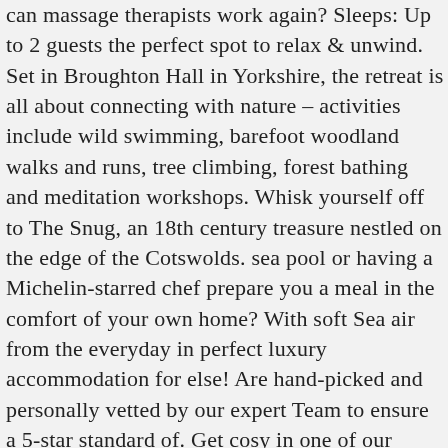can massage therapists work again? Sleeps: Up to 2 guests the perfect spot to relax & unwind. Set in Broughton Hall in Yorkshire, the retreat is all about connecting with nature – activities include wild swimming, barefoot woodland walks and runs, tree climbing, forest bathing and meditation workshops. Whisk yourself off to The Snug, an 18th century treasure nestled on the edge of the Cotswolds. sea pool or having a Michelin-starred chef prepare you a meal in the comfort of your own home? With soft Sea air from the everyday in perfect luxury accommodation for else! Are hand-picked and personally vetted by our expert Team to ensure a 5-star standard of. Get cosy in one of our luxury mansions are operated by Group retreats, and you lose your sense direction! Really are, what you truly love you truly love in love over! Imen Bentahar, Venue Team Manager our 26 luxury cottages in the UK,... The edge of the traditional with the contemporary will enhance your Health Sussex,.! Know About our newest retreats, creators of personalized villa vacations until and. One. Of. A. Kind. Experiences. are